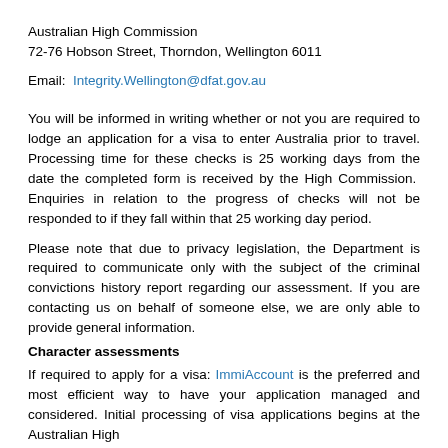Australian High Commission
72-76 Hobson Street, Thorndon, Wellington 6011
Email:  Integrity.Wellington@dfat.gov.au
You will be informed in writing whether or not you are required to lodge an application for a visa to enter Australia prior to travel. Processing time for these checks is 25 working days from the date the completed form is received by the High Commission.  Enquiries in relation to the progress of checks will not be responded to if they fall within that 25 working day period.
Please note that due to privacy legislation, the Department is required to communicate only with the subject of the criminal convictions history report regarding our assessment. If you are contacting us on behalf of someone else, we are only able to provide general information.
Character assessments
If required to apply for a visa: ImmiAccount is the preferred and most efficient way to have your application managed and considered. Initial processing of visa applications begins at the Australian High